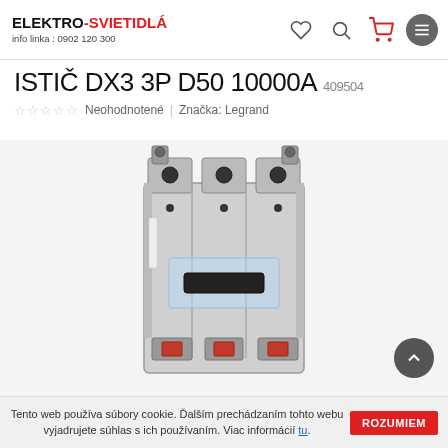ELEKTRO-SVIETIDLÁ info linka : 0902 120 300
ISTIČ DX3 3P D50 10000A 409504
☆☆☆☆☆ Neohodnotené | Značka: Legrand
[Figure (photo): Photo of a Legrand DX3 3-pole circuit breaker (grey, with black toggle handle, red terminals at bottom, transparent cover on front), shown on white/light grey background.]
Tento web používa súbory cookie. Ďalším prechádzaním tohto webu vyjadrujete súhlas s ich používaním. Viac informácií tu. ROZUMIEM